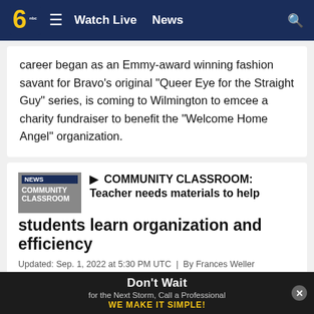Watch Live | News
career began as an Emmy-award winning fashion savant for Bravo's original "Queer Eye for the Straight Guy" series, is coming to Wilmington to emcee a charity fundraiser to benefit the "Welcome Home Angel" organization.
[Figure (screenshot): Community Classroom news badge thumbnail]
COMMUNITY CLASSROOM: Teacher needs materials to help students learn organization and efficiency
Updated: Sep. 1, 2022 at 5:30 PM UTC  |  By Frances Weller
Joan Buck-McGee is hoping to teach her students organizational skills and ways to become more efficient.
Don't Wait for the Next Storm, Call a Professional WE MAKE IT SIMPLE!